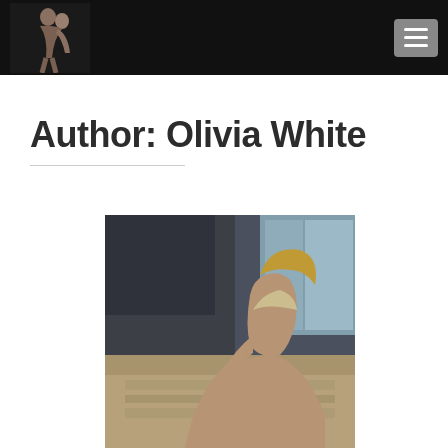Navigation header with logo and hamburger menu
Author: Olivia White
[Figure (photo): Photo of a blonde woman in lingerie seated in a dimly lit room with furniture visible in background]